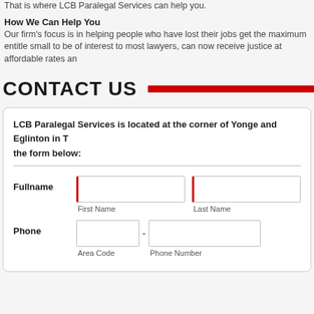That is where LCB Paralegal Services can help you.
How We Can Help You
Our firm's focus is in helping people who have lost their jobs get the maximum entitle small to be of interest to most lawyers, can now receive justice at affordable rates an
CONTACT US
LCB Paralegal Services is located at the corner of Yonge and Eglinton in T the form below:
Fullname
First Name
Last Name
Phone
Area Code
Phone Number